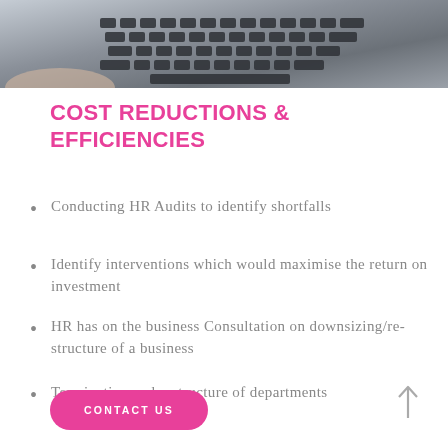[Figure (photo): Laptop keyboard viewed from above, partially visible, grey tones]
COST REDUCTIONS & EFFICIENCIES
Conducting HR Audits to identify shortfalls
Identify interventions which would maximise the return on investment
HR has on the business Consultation on downsizing/re-structure of a business
Termination and restructure of departments
CONTACT US